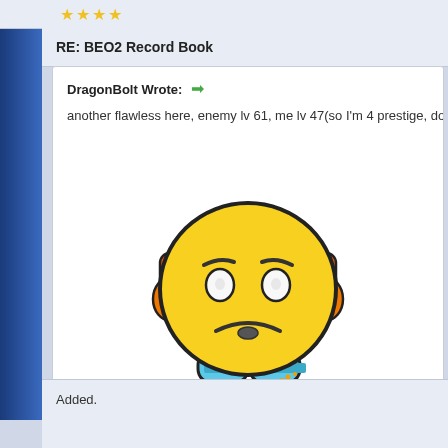RE: BEO2 Record Book
DragonBolt Wrote: →
another flawless here, enemy lv 61, me lv 47(so I'm 4 prestige, doesn't
[Figure (illustration): Tinypic broken image placeholder: sad yellow emoji character with orange earmuffs and blue feet, with 'tinypic' logo and text 'This image is no longer available. Visit tinypic.com for more information.']
Added.